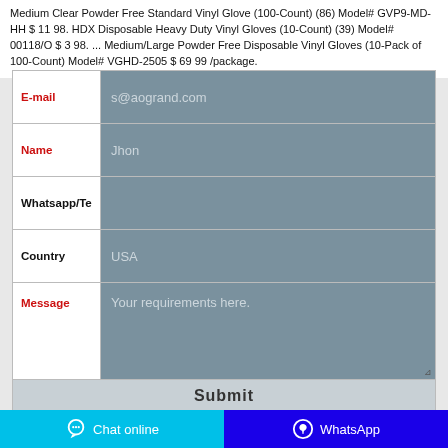Medium Clear Powder Free Standard Vinyl Glove (100-Count) (86) Model# GVP9-MD-HH $ 11 98. HDX Disposable Heavy Duty Vinyl Gloves (10-Count) (39) Model# 00118/O $ 3 98. ... Medium/Large Powder Free Disposable Vinyl Gloves (10-Pack of 100-Count) Model# VGHD-2505 $ 69 99 /package.
| Field | Value |
| --- | --- |
| E-mail | s@aogrand.com |
| Name | Jhon |
| Whatsapp/Te |  |
| Country | USA |
| Message | Your requirements here. |
|  | Submit |
Chat online  |  WhatsApp